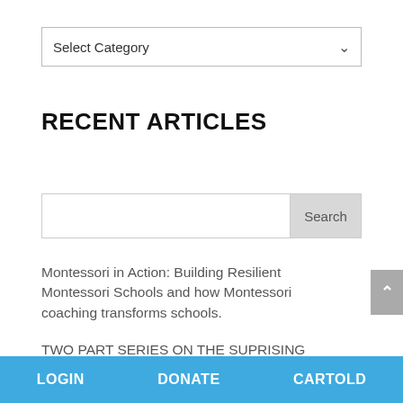Select Category
RECENT ARTICLES
Search
Montessori in Action: Building Resilient Montessori Schools and how Montessori coaching transforms schools.
TWO PART SERIES ON THE SUPRISING POWER OF PARENTS IN PARTNERSHIPS AT
LOGIN   DONATE   CARTOLD